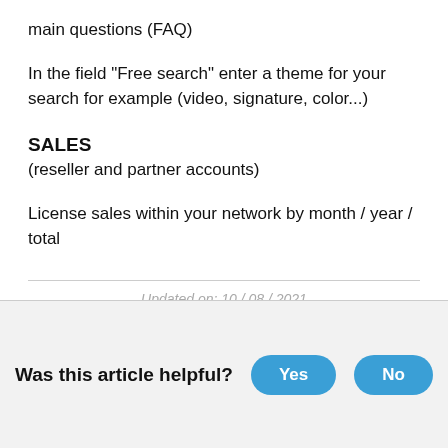main questions (FAQ)
In the field "Free search" enter a theme for your search for example (video, signature, color...)
SALES
(reseller and partner accounts)
License sales within your network by month / year / total
Updated on: 10 / 08 / 2021
Was this article helpful? Yes No